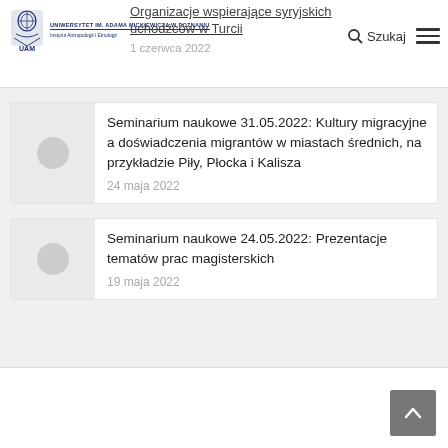Organizacje wspierające syryjskich uchodźców w Turcji — 1 czerwca 2022
[Figure (logo): UAM University logo — Uniwersytet im. Adama Mickiewicza w Poznaniu, Instytut Antropologii i Etnologii]
Seminarium naukowe 31.05.2022: Kultury migracyjne a doświadczenia migrantów w miastach średnich, na przykładzie Piły, Płocka i Kalisza
24 maja 2022
Seminarium naukowe 24.05.2022: Prezentacje tematów prac magisterskich
19 maja 2022